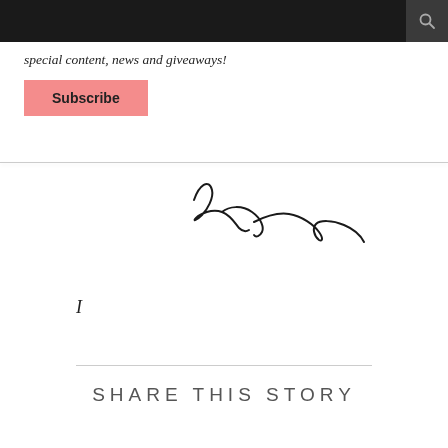special content, news and giveaways!
Subscribe
[Figure (illustration): A handwritten cursive signature in black ink, stylized script resembling 'Ema' or similar name]
I
SHARE THIS STORY